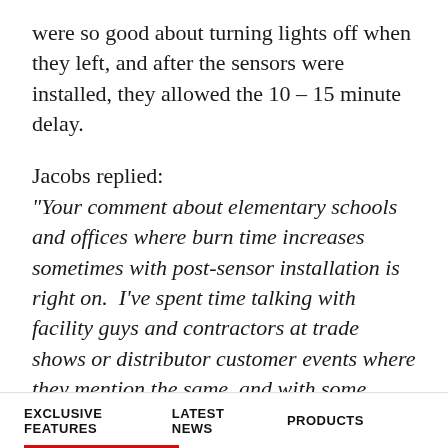were so good about turning lights off when they left, and after the sensors were installed, they allowed the 10 – 15 minute delay.
Jacobs replied:
"Your comment about elementary schools and offices where burn time increases sometimes with post-sensor installation is right on. I've spent time talking with facility guys and contractors at trade shows or distributor customer events where they mention the same, and with some frustration. No topic is simple it seems."
“No topic is simple is seems,” is a very
EXCLUSIVE FEATURES   LATEST NEWS   PRODUCTS